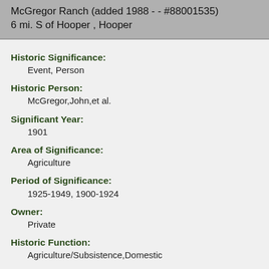McGregor Ranch (added 1988 - - #88001535)
6 mi. S of Hooper , Hooper
Historic Significance:
Event, Person
Historic Person:
McGregor,John,et al.
Significant Year:
1901
Area of Significance:
Agriculture
Period of Significance:
1925-1949, 1900-1924
Owner:
Private
Historic Function:
Agriculture/Subsistence,Domestic
Historic Sub-function:
Agricultural Outbuildings,Animal Facility,Single